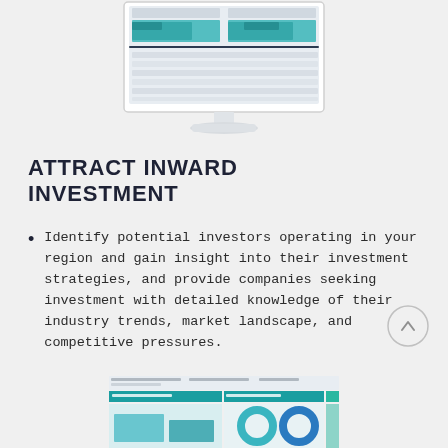[Figure (screenshot): Screenshot of a financial analytics dashboard displayed on a white desktop monitor with a light grey stand. The screen shows multiple data tables and bar charts with teal/blue coloring.]
ATTRACT INWARD INVESTMENT
Identify potential investors operating in your region and gain insight into their investment strategies, and provide companies seeking investment with detailed knowledge of their industry trends, market landscape, and competitive pressures.
[Figure (screenshot): Partial screenshot of a financial data report at the bottom of the page, showing tables with teal header rows and data columns, partially cropped.]